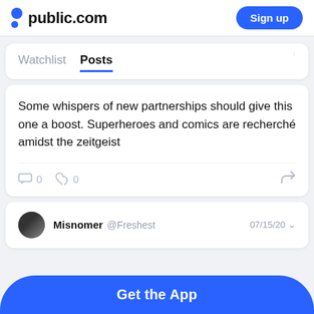public.com  Sign up
Watchlist  Posts
Some whispers of new partnerships should give this one a boost. Superheroes and comics are recherché amidst the zeitgeist
0  0
Misnomer @Freshest  07/15/20
Get the App